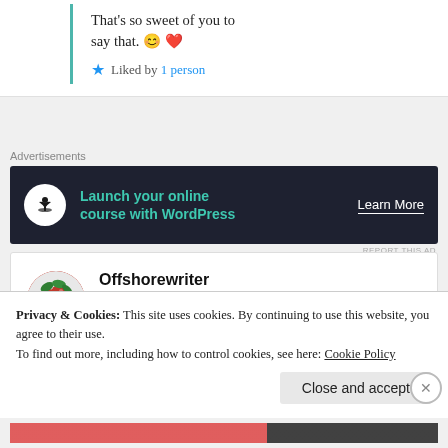That’s so sweet of you to say that. 😊 ❤️
★ Liked by 1 person
Advertisements
[Figure (infographic): Dark banner ad: bonsai tree icon, text 'Launch your online course with WordPress', 'Learn More' button]
REPORT THIS AD
Offshorewriter
24th Aug 2021 at 3:41 pm
Privacy & Cookies: This site uses cookies. By continuing to use this website, you agree to their use.
To find out more, including how to control cookies, see here: Cookie Policy
Close and accept